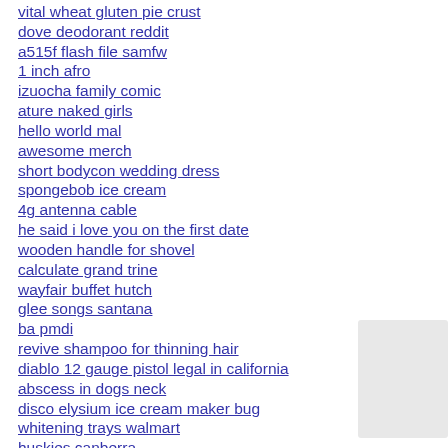vital wheat gluten pie crust
dove deodorant reddit
a515f flash file samfw
1 inch afro
izuocha family comic
ature naked girls
hello world mal
awesome merch
short bodycon wedding dress
spongebob ice cream
4g antenna cable
he said i love you on the first date
wooden handle for shovel
calculate grand trine
wayfair buffet hutch
glee songs santana
ba pmdi
revive shampoo for thinning hair
diablo 12 gauge pistol legal in california
abscess in dogs neck
disco elysium ice cream maker bug
whitening trays walmart
huskies canberra
delaila song
garrett warranty